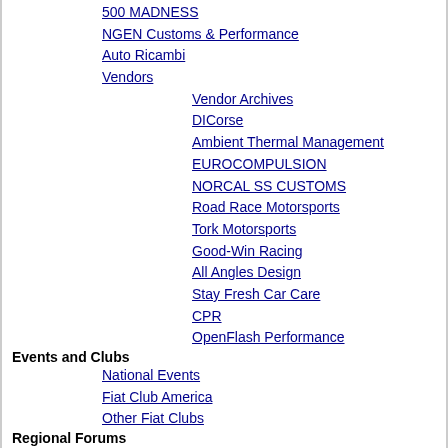500 MADNESS
NGEN Customs & Performance
Auto Ricambi
Vendors
Vendor Archives
DICorse
Ambient Thermal Management
EUROCOMPULSION
NORCAL SS CUSTOMS
Road Race Motorsports
Tork Motorsports
Good-Win Racing
All Angles Design
Stay Fresh Car Care
CPR
OpenFlash Performance
Events and Clubs
National Events
Fiat Club America
Other Fiat Clubs
Regional Forums
US: Northeast
US: Southeast
US: Northwest
US: Southwest
US: Northcentral
US: Southcentral
Canada: East
Canada: West
Fiat Classifieds